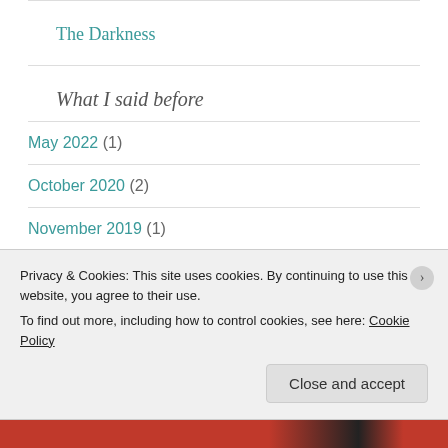The Darkness
What I said before
May 2022 (1)
October 2020 (2)
November 2019 (1)
Privacy & Cookies: This site uses cookies. By continuing to use this website, you agree to their use.
To find out more, including how to control cookies, see here: Cookie Policy
Close and accept